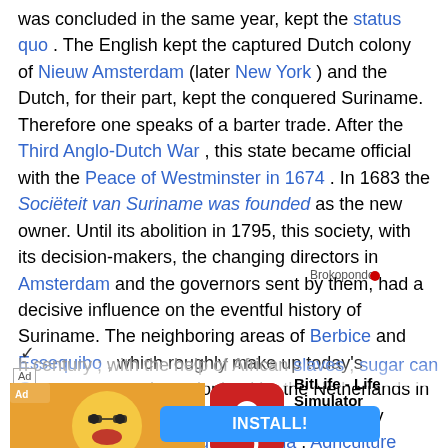was concluded in the same year, kept the status quo . The English kept the captured Dutch colony of Nieuw Amsterdam (later New York ) and the Dutch, for their part, kept the conquered Suriname. Therefore one speaks of a barter trade. After the Third Anglo-Dutch War , this state became official with the Peace of Westminster in 1674 . In 1683 the Sociëteit van Suriname was founded as the new owner. Until its abolition in 1795, this society, with its decision-makers, the changing directors in Amsterdam and the governors sent by them, had a decisive influence on the eventful history of Suriname. The neighboring areas of Berbice and Essequibo , which roughly make up today's Guyana , were also colonized by the Netherlands in the 17th century. Together with Suriname they formed the so-called Dutch Guiana . Agriculture flourished in Dutch Guiana in the first half of the h century ; with the help of African slaves , sugar cane
[Figure (other): Advertisement banner for BitLife - Life Simulator mobile app with INSTALL! button]